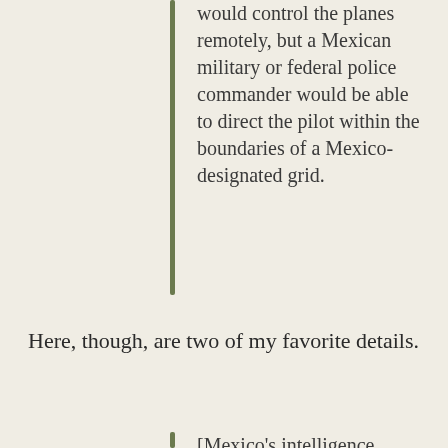would control the planes remotely, but a Mexican military or federal police commander would be able to direct the pilot within the boundaries of a Mexico-designated grid.
Here, though, are two of my favorite details.
[Mexico's intelligence service] CISEN discovered from a captured videotape and a special analytical group it set up that some of the cartels had hired former members of the U.S.-trained Guatemalan special forces, the Kaibiles, to create sociopathic killers who could behead a man, torture a child or immerse a captive in a vat of